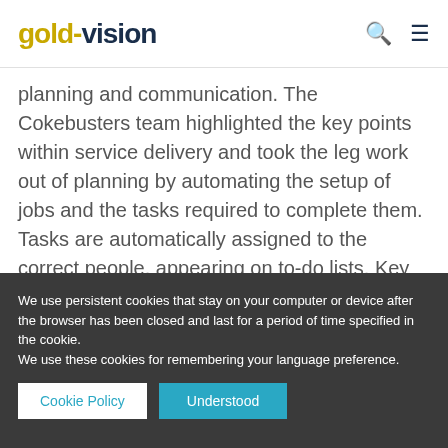gold-vision
planning and communication. The Cokebusters team highlighted the key points within service delivery and took the leg work out of planning by automating the setup of jobs and the tasks required to complete them. Tasks are automatically assigned to the correct people, appearing on to-do lists. Key sales information is copied down to the job level, saving time and
We use persistent cookies that stay on your computer or device after the browser has been closed and last for a period of time specified in the cookie.
We use these cookies for remembering your language preference.